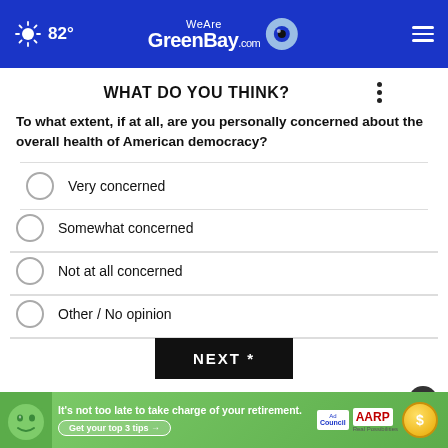82° WeAreGreenBay.com
WHAT DO YOU THINK?
To what extent, if at all, are you personally concerned about the overall health of American democracy?
Very concerned
Somewhat concerned
Not at all concerned
Other / No opinion
NEXT *
* By clicking "NEXT" you agree to the following: We use cookies to track your survey answers. If you would like to continue with this survey please read and agree to the CivicScience Privacy Policy and Terms of Service
[Figure (infographic): AARP advertisement banner: It's not too late to take charge of your retirement. Get your top 3 tips. Ad Council and AARP logos.]